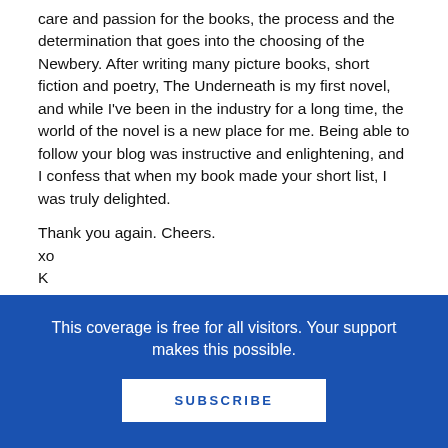care and passion for the books, the process and the determination that goes into the choosing of the Newbery. After writing many picture books, short fiction and poetry, The Underneath is my first novel, and while I've been in the industry for a long time, the world of the novel is a new place for me. Being able to follow your blog was instructive and enlightening, and I confess that when my book made your short list, I was truly delighted.
Thank you again. Cheers.
xo
K
This coverage is free for all visitors. Your support makes this possible.
SUBSCRIBE